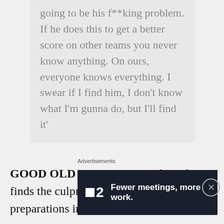going to be his f**king problem. If he does this to get a better score on other teams you never know anything. On ours, everyone knows everything. I swear if I find him, I don't know what I'm gunna do, but I'll find it'
GOOD OLD SINISA. – Let's hope he finds the culprit and it sends their match preparations into meltdown.
[Figure (other): Advertisement banner: Fewer meetings, more work. (F2 logo)]